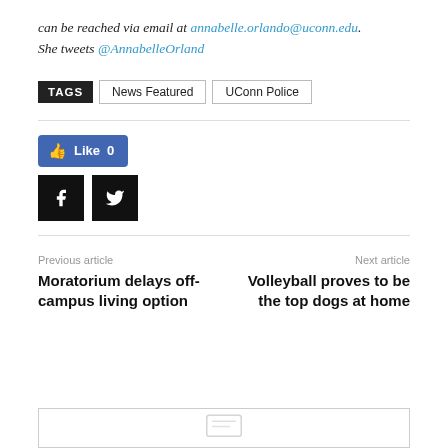can be reached via email at annabelle.orlando@uconn.edu. She tweets @AnnabelleOrland
TAGS   News Featured   UConn Police
[Figure (other): Facebook Like button showing Like 0, Facebook share icon, Twitter share icon]
Previous article
Moratorium delays off-campus living option
Next article
Volleyball proves to be the top dogs at home
[Figure (other): Comment box outline at bottom of page with comment icon]